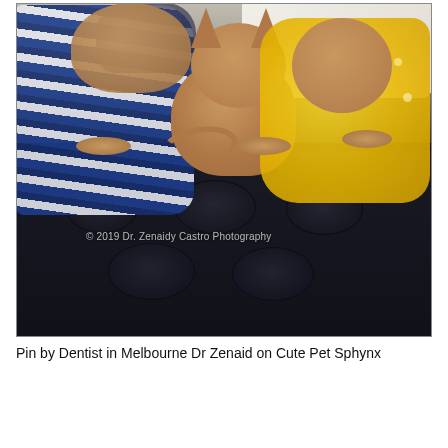[Figure (photo): Two hairless Sphynx cats sitting on a dark tufted leather sofa. The cat on the left wears a blue and white striped sweater/scarf. The cat in the center-right wears a yellow ruffled dress. A watermark reading '© 2019 Dr. Zenaidy Castro Photography' appears in the lower portion of the image.]
Pin by Dentist in Melbourne Dr Zenaid on Cute Pet Sphynx